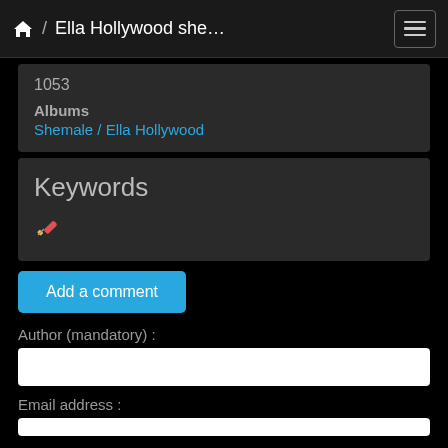🏠 / Ella Hollywood she…
1053
Albums
Shemale / Ella Hollywood
Keywords
[Figure (illustration): Pencil/edit icon]
Add a comment
Author (mandatory) :
Email address :